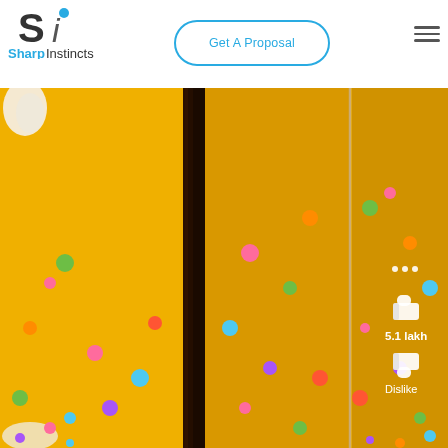[Figure (logo): SharpInstincts logo: stylized S and i letterform icon above the wordmark 'SharpInstincts' with 'Sharp' in blue and 'Instincts' in dark gray]
Get A Proposal
[Figure (screenshot): Close-up photo of a yellow cake decorated with colorful candy confetti dots and chocolate layers, with a smartphone overlay showing YouTube-style like (thumbs up, 5.1 lakh) and dislike (thumbs down) buttons on the right side]